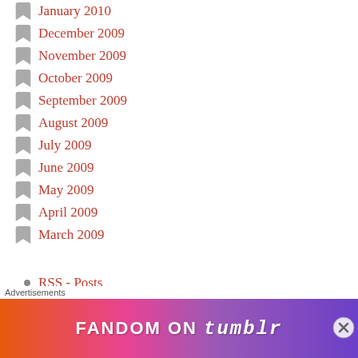January 2010
December 2009
November 2009
October 2009
September 2009
August 2009
July 2009
June 2009
May 2009
April 2009
March 2009
RSS - Posts
RSS - Comments
[Figure (screenshot): Fandom on Tumblr advertisement banner with colorful gradient background]